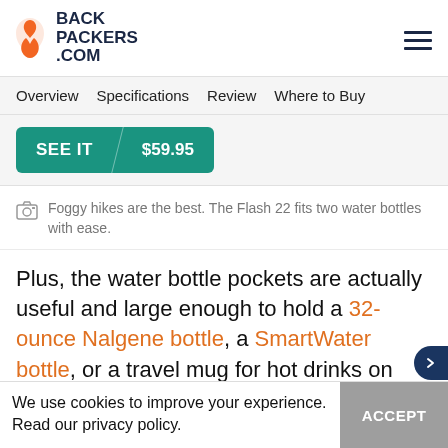BACK PACKERS .COM
Overview
Specifications
Review
Where to Buy
SEE IT / $59.95
Foggy hikes are the best. The Flash 22 fits two water bottles with ease.
Plus, the water bottle pockets are actually useful and large enough to hold a 32-ounce Nalgene bottle, a SmartWater bottle, or a travel mug for hot drinks on cold, misty
We use cookies to improve your experience. Read our privacy policy.